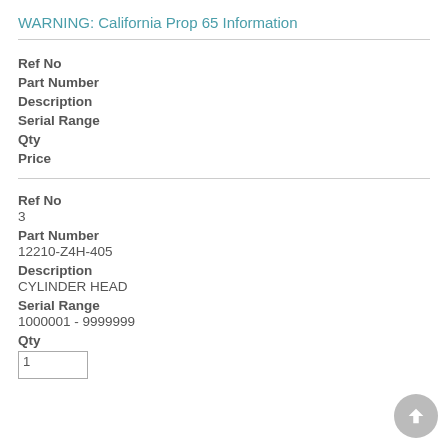WARNING: California Prop 65 Information
Ref No
Part Number
Description
Serial Range
Qty
Price
Ref No
3
Part Number
12210-Z4H-405
Description
CYLINDER HEAD
Serial Range
1000001 - 9999999
Qty